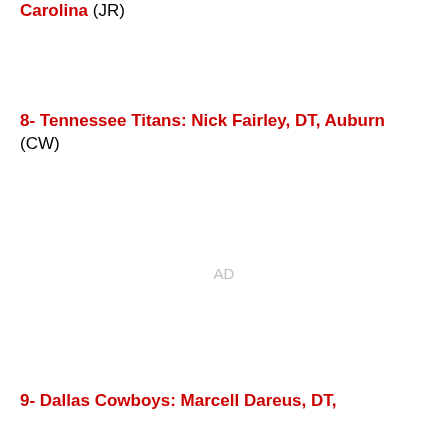7- San Francisco 49ers: Robert Quinn, DE, North Carolina (JR)
8- Tennessee Titans: Nick Fairley, DT, Auburn (CW)
AD
9- Dallas Cowboys: Marcell Dareus, DT, Alabama (CW)